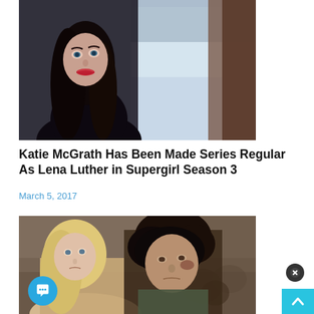[Figure (photo): A woman with long dark hair and red lipstick in dark clothing, looking over her shoulder, with a blurred office background]
Katie McGrath Has Been Made Series Regular As Lena Luther in Supergirl Season 3
March 5, 2017
[Figure (photo): Two people (a blonde woman and a dark-haired man) standing close together outdoors, with a crowd in the background]